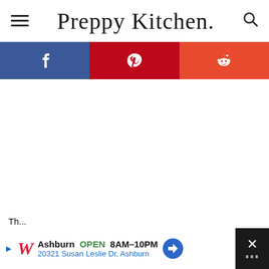Preppy Kitchen
[Figure (infographic): Social sharing bar with Facebook (blue), Pinterest (red), and Reddit (orange) buttons]
[Figure (other): Empty white content area (image not loaded)]
Th...
[Figure (other): Advertisement bar: Walgreens - Ashburn OPEN 8AM-10PM, 20321 Susan Leslie Dr, Ashburn]